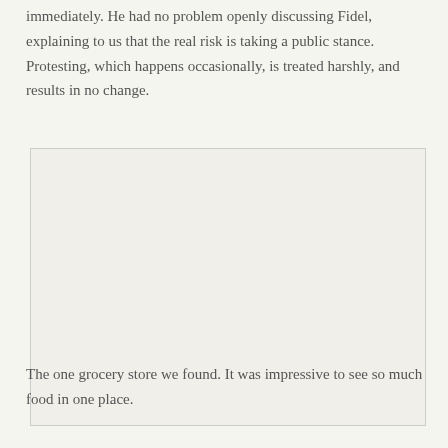immediately. He had no problem openly discussing Fidel, explaining to us that the real risk is taking a public stance. Protesting, which happens occasionally, is treated harshly, and results in no change.
[Figure (photo): A large blank/white photograph placeholder showing the interior of a grocery store.]
The one grocery store we found. It was impressive to see so much food in one place.